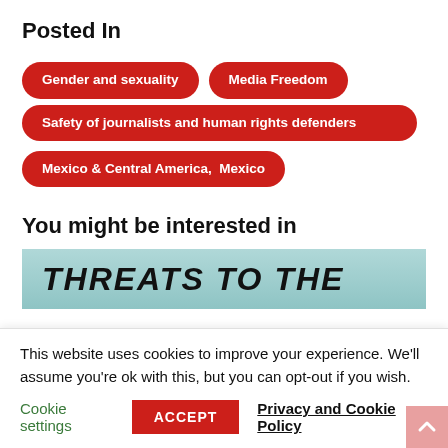Posted In
Gender and sexuality
Media Freedom
Safety of journalists and human rights defenders
Mexico & Central America,  Mexico
You might be interested in
[Figure (other): Partial image strip showing bold italic text 'THREATS TO THE' on a teal/light blue background]
This website uses cookies to improve your experience. We'll assume you're ok with this, but you can opt-out if you wish.
Cookie settings   ACCEPT   Privacy and Cookie Policy